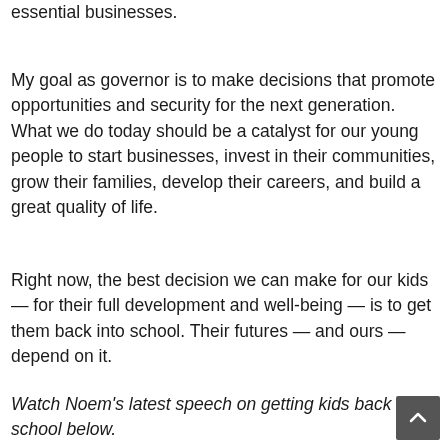essential businesses.
My goal as governor is to make decisions that promote opportunities and security for the next generation. What we do today should be a catalyst for our young people to start businesses, invest in their communities, grow their families, develop their careers, and build a great quality of life.
Right now, the best decision we can make for our kids — for their full development and well-being — is to get them back into school. Their futures — and ours — depend on it.
Watch Noem’s latest speech on getting kids back to school below.